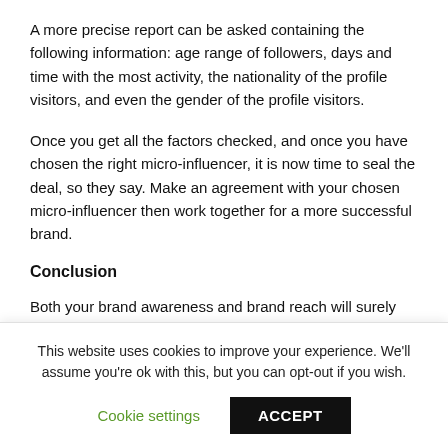A more precise report can be asked containing the following information: age range of followers, days and time with the most activity, the nationality of the profile visitors, and even the gender of the profile visitors.
Once you get all the factors checked, and once you have chosen the right micro-influencer, it is now time to seal the deal, so they say. Make an agreement with your chosen micro-influencer then work together for a more successful brand.
Conclusion
Both your brand awareness and brand reach will surely boom
This website uses cookies to improve your experience. We'll assume you're ok with this, but you can opt-out if you wish.
Cookie settings   ACCEPT